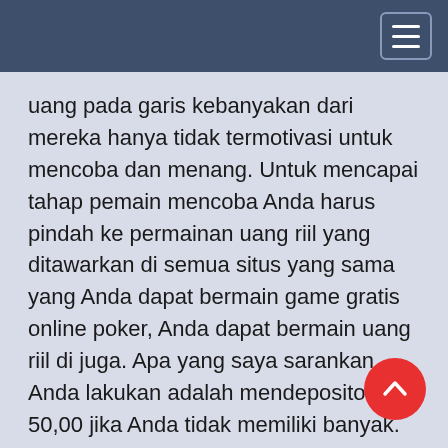uang pada garis kebanyakan dari mereka hanya tidak termotivasi untuk mencoba dan menang. Untuk mencapai tahap pemain mencoba Anda harus pindah ke permainan uang riil yang ditawarkan di semua situs yang sama yang Anda dapat bermain game gratis online poker, Anda dapat bermain uang riil di juga. Apa yang saya sarankan Anda lakukan adalah mendepositokan $ 50,00 jika Anda tidak memiliki banyak. Saya adalah seorang mahasiswa miskin mulai keluar ketika saya mulai bermain untuk uang riil. Ini telah ber menjadi sebuah rumah, mobil, dan saya mampu keluar dari pekerjaan saya jadi sudah pasti